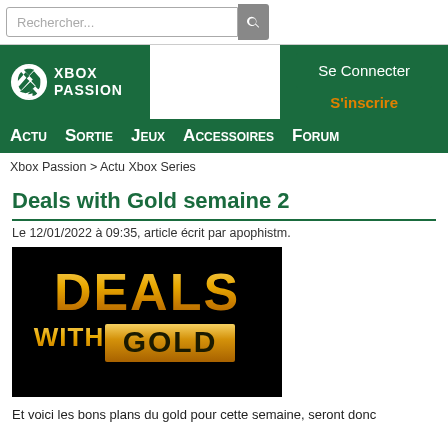Rechercher...
[Figure (logo): Xbox Passion logo with Xbox circle icon and white text on green background]
Se Connecter
S'inscrire
Actu Sortie Jeux Accessoires Forum
Xbox Passion > Actu Xbox Series
Deals with Gold semaine 2
Le 12/01/2022 à 09:35, article écrit par apophistm.
[Figure (photo): Deals with Gold logo on black background — gold metallic text DEALS WITH GOLD]
Et voici les bons plans du gold pour cette semaine, seront donc